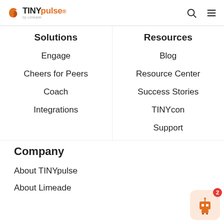TINYpulse by Limeade — navigation header with search and menu icons
Solutions
Resources
Engage
Blog
Cheers for Peers
Resource Center
Coach
Success Stories
Integrations
TINYcon
Support
Company
About TINYpulse
About Limeade
[Figure (illustration): Orange robot chat widget with a badge showing the number 2]